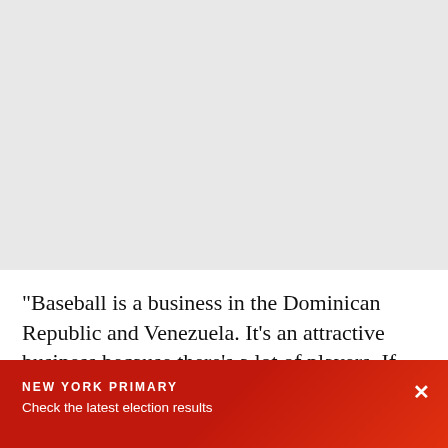[Figure (photo): Gray image placeholder area at the top of the page]
"Baseball is a business in the Dominican Republic and Venezuela. It's an attractive business because there's a lot of players. If you're going to take that business, you have a responsibility to educate. You
NEW YORK PRIMARY
Check the latest election results